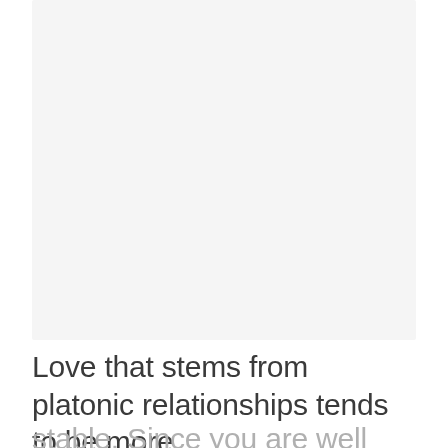[Figure (other): Large empty light gray rectangular image placeholder area]
Love that stems from platonic relationships tends to be more stable. Since you are well aware of this, you treat all your relationships